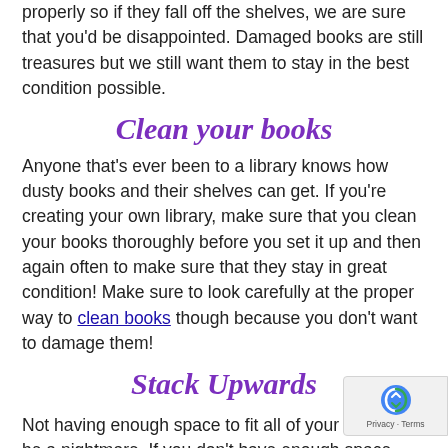properly so if they fall off the shelves, we are sure that you'd be disappointed. Damaged books are still treasures but we still want them to stay in the best condition possible.
Clean your books
Anyone that's ever been to a library knows how dusty books and their shelves can get. If you're creating your own library, make sure that you clean your books thoroughly before you set it up and then again often to make sure that they stay in great condition! Make sure to look carefully at the proper way to clean books though because you don't want to damage them!
Stack Upwards
Not having enough space to fit all of your books can be a nightmare. If you don't have enough space, you'll need to stack them upwards. Make sure of the